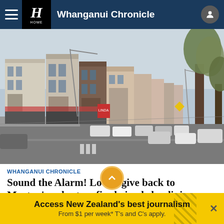Whanganui Chronicle
[Figure (photo): Street view of Marton town centre showing historic commercial buildings along the main street with parked cars and trees]
WHANGANUI CHRONICLE
Sound the Alarm! Locals give back to Marton's volunteer fire brigade by dining local
14 Jul 05:00 PM
Access New Zealand's best journalism
From $1 per week* T's and C's apply.